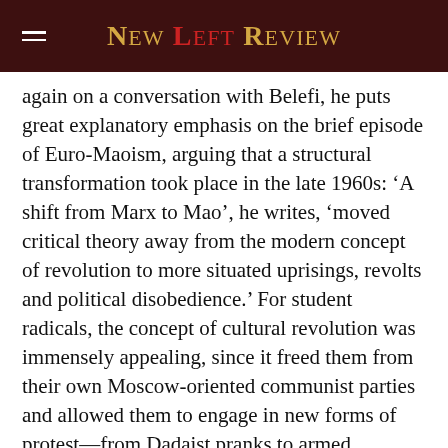New Left Review
again on a conversation with Belefi, he puts great explanatory emphasis on the brief episode of Euro-Maoism, arguing that a structural transformation took place in the late 1960s: ‘A shift from Marx to Mao’, he writes, ‘moved critical theory away from the modern concept of revolution to more situated uprisings, revolts and political disobedience.’ For student radicals, the concept of cultural revolution was immensely appealing, since it freed them from their own Moscow-oriented communist parties and allowed them to engage in new forms of protest—from Dadaist pranks to armed insurrection—and cleared a new landscape for critical praxis. But the new militants could not count on the support of the masses, who had been won